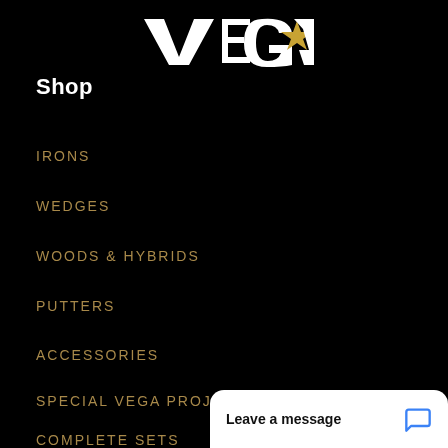[Figure (logo): VEGA logo with golden star replacing the letter A, white serif text on black background]
Shop
IRONS
WEDGES
WOODS & HYBRIDS
PUTTERS
ACCESSORIES
SPECIAL VEGA PROJECTS (SVP)
COMPLETE SETS
[Figure (screenshot): Chat widget popup: Leave a message with blue chat icon]